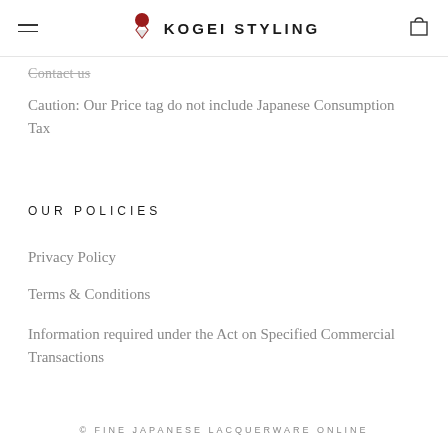KOGEI STYLING
Contact us
Caution: Our Price tag do not include Japanese Consumption Tax
OUR POLICIES
Privacy Policy
Terms & Conditions
Information required under the Act on Specified Commercial Transactions
© FINE JAPANESE LACQUERWARE ONLINE